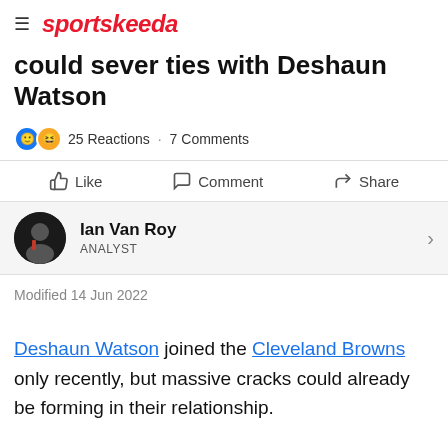sportskeeda
could sever ties with Deshaun Watson
25 Reactions · 7 Comments
Like   Comment   Share
Ian Van Roy
ANALYST
Modified 14 Jun 2022
Deshaun Watson joined the Cleveland Browns only recently, but massive cracks could already be forming in their relationship.
Most agree that the higher the price tag, the higher the likelihood of buyer's remorse. With Watson given a fully